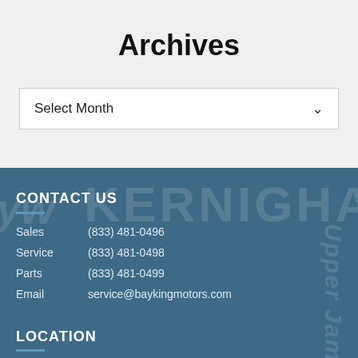Archives
Select Month
CONTACT US
Sales    (833) 481-0496
Service    (833) 481-0498
Parts    (833) 481-0499
Email    service@baykingmotors.com
LOCATION